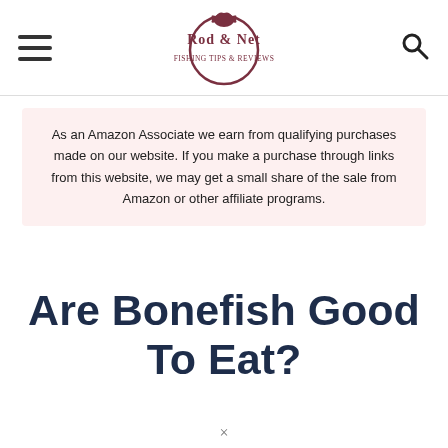Rod & Net
As an Amazon Associate we earn from qualifying purchases made on our website. If you make a purchase through links from this website, we may get a small share of the sale from Amazon or other affiliate programs.
Are Bonefish Good To Eat?